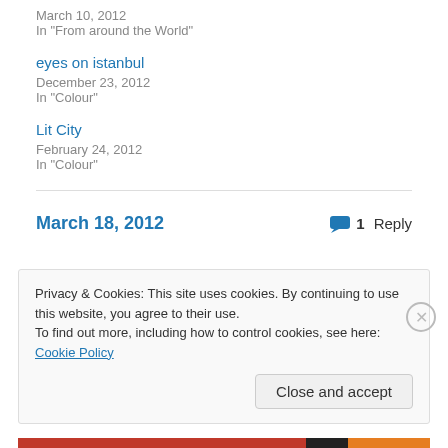March 10, 2012
In "From around the World"
eyes on istanbul
December 23, 2012
In "Colour"
Lit City
February 24, 2012
In "Colour"
March 18, 2012   1 Reply
Privacy & Cookies: This site uses cookies. By continuing to use this website, you agree to their use. To find out more, including how to control cookies, see here: Cookie Policy
Close and accept